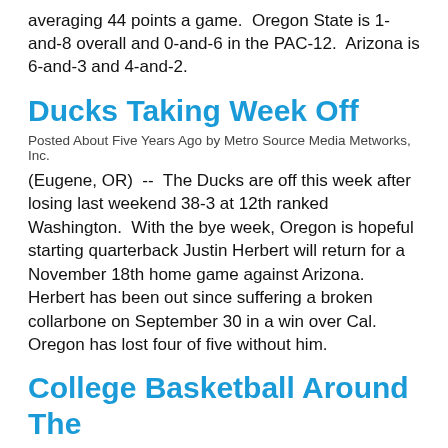averaging 44 points a game.  Oregon State is 1-and-8 overall and 0-and-6 in the PAC-12.  Arizona is 6-and-3 and 4-and-2.
Ducks Taking Week Off
Posted About Five Years Ago by Metro Source Media Metworks, Inc.
(Eugene, OR)  --  The Ducks are off this week after losing last weekend 38-3 at 12th ranked Washington.  With the bye week, Oregon is hopeful starting quarterback Justin Herbert will return for a November 18th home game against Arizona.  Herbert has been out since suffering a broken collarbone on September 30 in a win over Cal.  Oregon has lost four of five without him.
College Basketball Around The